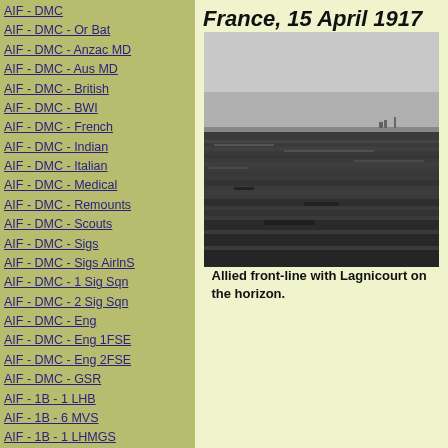France, 15 April 1917
AIF - DMC
AIF - DMC - Or Bat
AIF - DMC - Anzac MD
AIF - DMC - Aus MD
AIF - DMC - British
AIF - DMC - BWI
AIF - DMC - French
AIF - DMC - Indian
AIF - DMC - Italian
AIF - DMC - Medical
AIF - DMC - Remounts
AIF - DMC - Scouts
AIF - DMC - Sigs
AIF - DMC - Sigs AirlnS
AIF - DMC - 1 Sig Sqn
AIF - DMC - 2 Sig Sqn
AIF - DMC - Eng
AIF - DMC - Eng 1FSE
AIF - DMC - Eng 2FSE
AIF - DMC - GSR
AIF - 1B - 1 LHB
AIF - 1B - 6 MVS
AIF - 1B - 1 LHMGS
AIF - 1B - 1 Sig Trp
AIF - 1B - 1 LHFA
AIF - 1B - 1 LHR
AIF - 1B - 2 LHR
AIF - 1B - 3 LHR
[Figure (photo): Black and white photograph of the Allied front-line with Lagnicourt on the horizon. Shows a flat landscape with fields in the foreground and a distant horizon line under a grey sky.]
Allied front-line with Lagnicourt on the horizon.